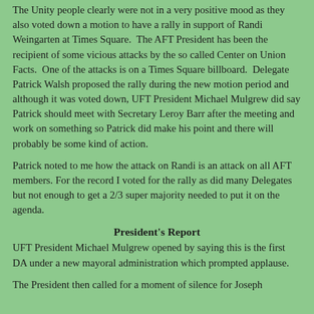The Unity people clearly were not in a very positive mood as they also voted down a motion to have a rally in support of Randi Weingarten at Times Square.  The AFT President has been the recipient of some vicious attacks by the so called Center on Union Facts.  One of the attacks is on a Times Square billboard.  Delegate Patrick Walsh proposed the rally during the new motion period and although it was voted down, UFT President Michael Mulgrew did say Patrick should meet with Secretary Leroy Barr after the meeting and work on something so Patrick did make his point and there will probably be some kind of action.
Patrick noted to me how the attack on Randi is an attack on all AFT members. For the record I voted for the rally as did many Delegates but not enough to get a 2/3 super majority needed to put it on the agenda.
President's Report
UFT President Michael Mulgrew opened by saying this is the first DA under a new mayoral administration which prompted applause.
The President then called for a moment of silence for Joseph